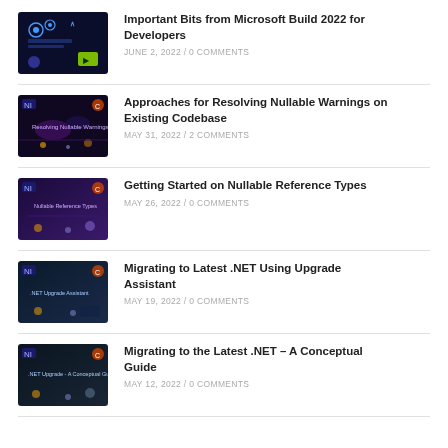Important Bits from Microsoft Build 2022 for Developers
Approaches for Resolving Nullable Warnings on Existing Codebase
Getting Started on Nullable Reference Types
Migrating to Latest .NET Using Upgrade Assistant
Migrating to the Latest .NET – A Conceptual Guide